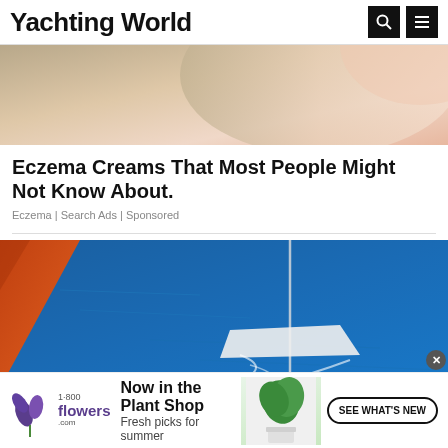Yachting World
[Figure (photo): Close-up photo of human skin, partially blurred, beige/pink tones — advertisement image for eczema cream]
Eczema Creams That Most People Might Not Know About.
Eczema | Search Ads | Sponsored
[Figure (photo): Aerial view of a sailing yacht with orange sails on deep blue ocean water]
[Figure (photo): 1-800-flowers.com advertisement banner: Now in the Plant Shop. Fresh picks for summer. SEE WHAT'S NEW button. Plant image on right.]